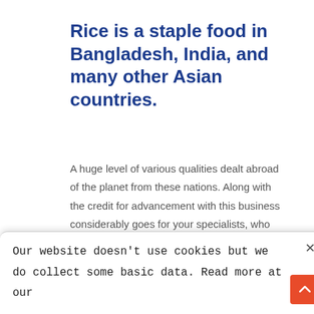Rice is a staple food in Bangladesh, India, and many other Asian countries.
A huge level of various qualities dealt abroad of the planet from these nations. Along with the credit for advancement with this business considerably goes for your specialists, who separated family activity and it to profitable and profitable business. The specialists served their clients with their choice of rice business; meaning, perhaps the
Our website doesn't use cookies but we do collect some basic data. Read more at our